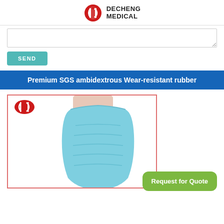DECHENG MEDICAL
[Figure (other): Text input textarea (partially visible, cropped at top)]
[Figure (other): Send button - teal rounded rectangle with SEND text]
Premium SGS ambidextrous Wear-resistant rubber
[Figure (photo): Blue nitrile/rubber glove being worn on a hand/wrist, shown against white background, inside a pink-bordered frame with small Decheng Medical logo in upper left]
[Figure (other): Request for Quote button - green rounded rectangle]